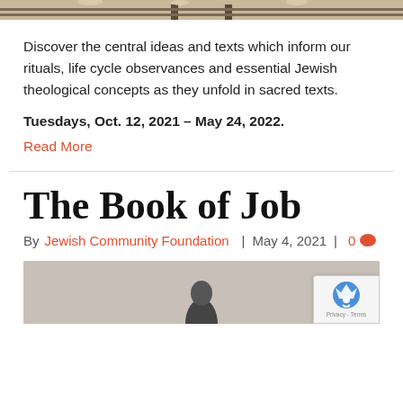[Figure (photo): Partial view of railroad tracks from above, showing gravel and metal tracks]
Discover the central ideas and texts which inform our rituals, life cycle observances and essential Jewish theological concepts as they unfold in sacred texts.
Tuesdays, Oct. 12, 2021 – May 24, 2022.
Read More
The Book of Job
By Jewish Community Foundation | May 4, 2021 | 0
[Figure (photo): Partial view of a person in black and white, grayscale image]